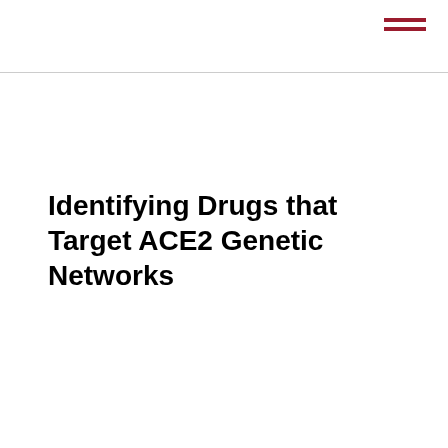[Figure (other): Hamburger menu icon — three horizontal dark red lines in the top-right corner]
Identifying Drugs that Target ACE2 Genetic Networks